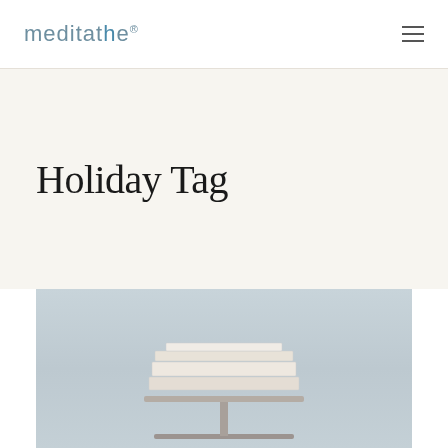meditathe®
Holiday Tag
[Figure (photo): A stack of books or magazines displayed on a metallic stand/pedestal against a light blue-grey background]